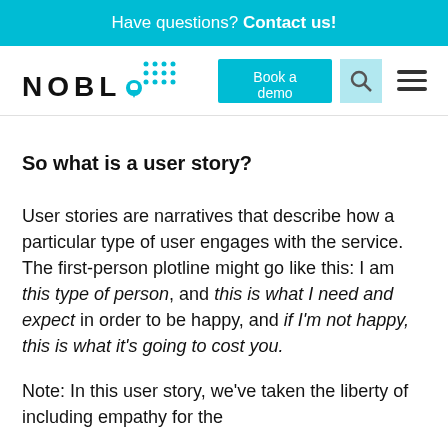Have questions? Contact us!
[Figure (logo): NOBL logo with dot grid pattern]
So what is a user story?
User stories are narratives that describe how a particular type of user engages with the service. The first-person plotline might go like this: I am this type of person, and this is what I need and expect in order to be happy, and if I'm not happy, this is what it's going to cost you.
Note: In this user story, we've taken the liberty of including empathy for the